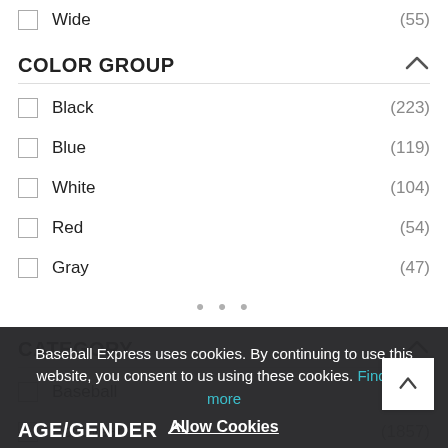Wide (55)
COLOR GROUP
Black (223)
Blue (119)
White (104)
Red (54)
Gray (47)
CATEGORY
Baseball (1857)
Footwear (1857)
Softball (1773)
Baseball Express uses cookies. By continuing to use this website, you consent to us using these cookies. Find out more
Allow Cookies
AGE/GENDER